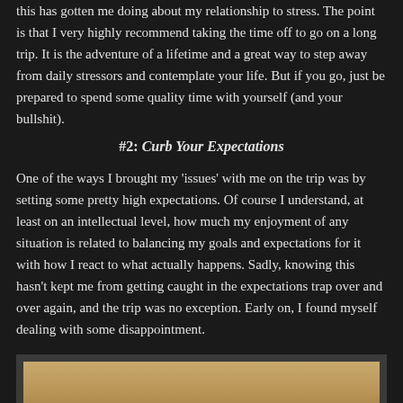this has gotten me doing about my relationship to stress. The point is that I very highly recommend taking the time off to go on a long trip. It is the adventure of a lifetime and a great way to step away from daily stressors and contemplate your life. But if you go, just be prepared to spend some quality time with yourself (and your bullshit).
#2: Curb Your Expectations
One of the ways I brought my 'issues' with me on the trip was by setting some pretty high expectations. Of course I understand, at least on an intellectual level, how much my enjoyment of any situation is related to balancing my goals and expectations for it with how I react to what actually happens. Sadly, knowing this hasn't kept me from getting caught in the expectations trap over and over again, and the trip was no exception. Early on, I found myself dealing with some disappointment.
[Figure (photo): A photo showing a small wooden cube or object on a sandy/earthy surface, partially cut off at bottom of page]